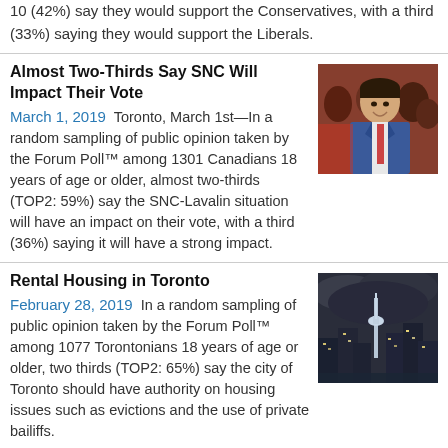10 (42%) say they would support the Conservatives, with a third (33%) saying they would support the Liberals.
Almost Two-Thirds Say SNC Will Impact Their Vote
March 1, 2019  Toronto, March 1st—In a random sampling of public opinion taken by the Forum Poll™ among 1301 Canadians 18 years of age or older, almost two-thirds (TOP2: 59%) say the SNC-Lavalin situation will have an impact on their vote, with a third (36%) saying it will have a strong impact.
[Figure (photo): Photo of a man in a blue suit smiling, with other people in the background]
Rental Housing in Toronto
February 28, 2019  In a random sampling of public opinion taken by the Forum Poll™ among 1077 Torontonians 18 years of age or older, two thirds (TOP2: 65%) say the city of Toronto should have authority on housing issues such as evictions and the use of private bailiffs.
[Figure (photo): Photo of Toronto city skyline at dusk with dark cloudy sky]
1 in 2 unsatisfied with snow removal from city sidewalks
February 27, 2019  In a random sampling of